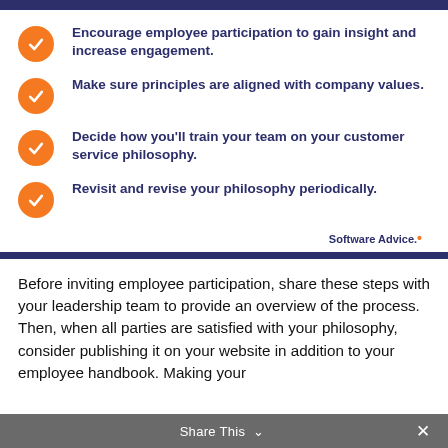[Figure (infographic): Infographic checklist with four orange circle checkmarks and dark navy bold text items on white background with Software Advice branding]
Encourage employee participation to gain insight and increase engagement.
Make sure principles are aligned with company values.
Decide how you'll train your team on your customer service philosophy.
Revisit and revise your philosophy periodically.
Software Advice.
Before inviting employee participation, share these steps with your leadership team to provide an overview of the process. Then, when all parties are satisfied with your philosophy, consider publishing it on your website in addition to your employee handbook. Making your
Share This ×